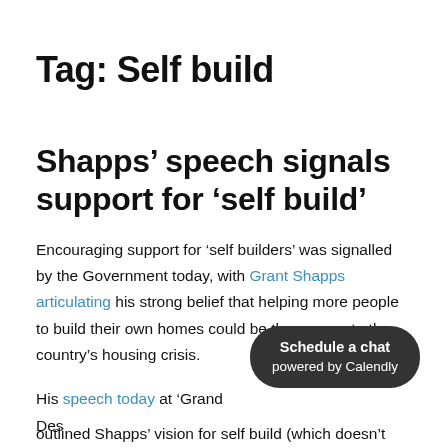Tag: Self build
Shapps’ speech signals support for ‘self build’
Encouraging support for ‘self builders’ was signalled by the Government today, with Grant Shapps articulating his strong belief that helping more people to build their own homes could be the answer to the country’s housing crisis.
His speech today at ‘Grand Des… outlined Shapps’ vision for self build (which doesn’t